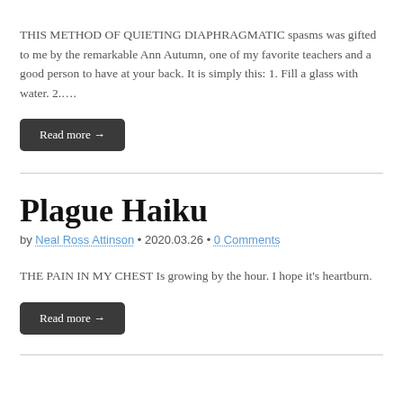THIS METHOD OF QUIETING DIAPHRAGMATIC spasms was gifted to me by the remarkable Ann Autumn, one of my favorite teachers and a good person to have at your back. It is simply this: 1. Fill a glass with water. 2….
Read more →
Plague Haiku
by Neal Ross Attinson • 2020.03.26 • 0 Comments
THE PAIN IN MY CHEST Is growing by the hour. I hope it's heartburn.
Read more →